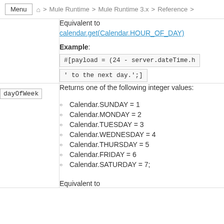Menu > Mule Runtime > Mule Runtime 3.x > Reference >
Equivalent to calendar.get(Calendar.HOUR_OF_DAY)
Example:
#[payload = (24 - server.dateTime.h' to the next day.';]
dayOfWeek
Returns one of the following integer values:
Calendar.SUNDAY = 1
Calendar.MONDAY = 2
Calendar.TUESDAY = 3
Calendar.WEDNESDAY = 4
Calendar.THURSDAY = 5
Calendar.FRIDAY = 6
Calendar.SATURDAY = 7;
Equivalent to